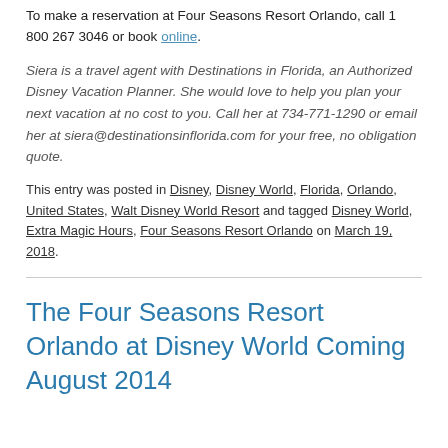To make a reservation at Four Seasons Resort Orlando, call 1 800 267 3046 or book online.
Siera is a travel agent with Destinations in Florida, an Authorized Disney Vacation Planner. She would love to help you plan your next vacation at no cost to you. Call her at 734-771-1290 or email her at siera@destinationsinflorida.com for your free, no obligation quote.
This entry was posted in Disney, Disney World, Florida, Orlando, United States, Walt Disney World Resort and tagged Disney World, Extra Magic Hours, Four Seasons Resort Orlando on March 19, 2018.
The Four Seasons Resort Orlando at Disney World Coming August 2014